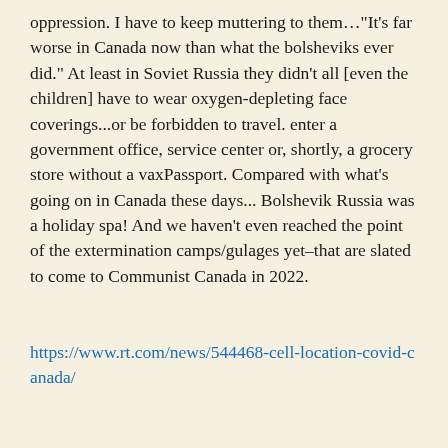oppression. I have to keep muttering to them…"It's far worse in Canada now than what the bolsheviks ever did." At least in Soviet Russia they didn't all [even the children] have to wear oxygen-depleting face coverings...or be forbidden to travel. enter a government office, service center or, shortly, a grocery store without a vaxPassport. Compared with what's going on in Canada these days... Bolshevik Russia was a holiday spa! And we haven't even reached the point of the extermination camps/gulages yet–that are slated to come to Communist Canada in 2022.
https://www.rt.com/news/544468-cell-location-covid-canada/